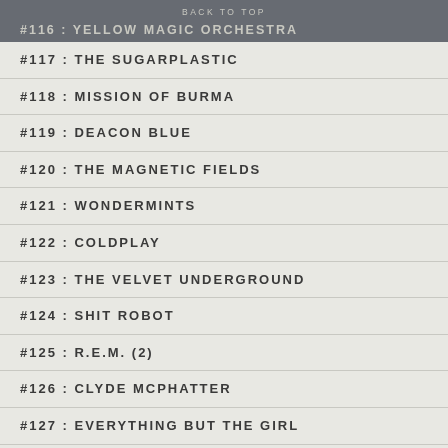BACK TO TOP
#116 : YELLOW MAGIC ORCHESTRA
#117 : THE SUGARPLASTIC
#118 : MISSION OF BURMA
#119 : DEACON BLUE
#120 : THE MAGNETIC FIELDS
#121 : WONDERMINTS
#122 : COLDPLAY
#123 : THE VELVET UNDERGROUND
#124 : SHIT ROBOT
#125 : R.E.M. (2)
#126 : CLYDE McPHATTER
#127 : EVERYTHING BUT THE GIRL
#128 : THE SKIDS